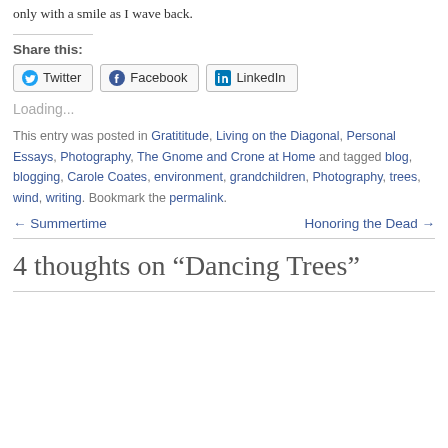only with a smile as I wave back.
Share this:
Twitter | Facebook | LinkedIn
Loading...
This entry was posted in Gratititude, Living on the Diagonal, Personal Essays, Photography, The Gnome and Crone at Home and tagged blog, blogging, Carole Coates, environment, grandchildren, Photography, trees, wind, writing. Bookmark the permalink.
← Summertime    Honoring the Dead →
4 thoughts on “Dancing Trees”